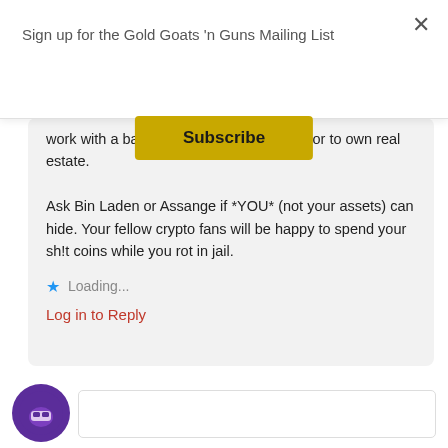Sign up for the Gold Goats 'n Guns Mailing List
Subscribe
work with a bank or credit card company, or to own real estate.

Ask Bin Laden or Assange if *YOU* (not your assets) can hide. Your fellow crypto fans will be happy to spend your sh!t coins while you rot in jail.
Loading...
Log in to Reply